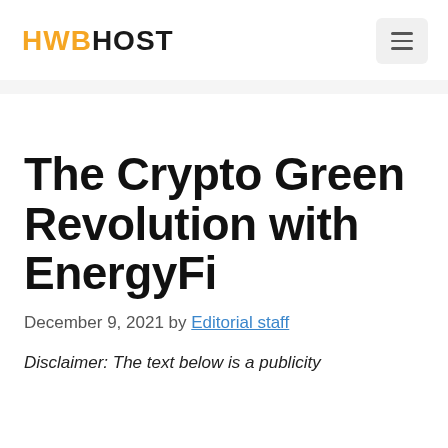HWBHOST
The Crypto Green Revolution with EnergyFi
December 9, 2021 by Editorial staff
Disclaimer: The text below is a publicity